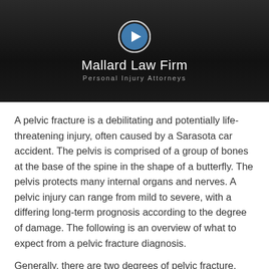[Figure (screenshot): Video thumbnail showing Mallard Law Firm - Personal Injury Attorneys with a play button icon on a dark background]
A pelvic fracture is a debilitating and potentially life-threatening injury, often caused by a Sarasota car accident. The pelvis is comprised of a group of bones at the base of the spine in the shape of a butterfly. The pelvis protects many internal organs and nerves. A pelvic injury can range from mild to severe, with a differing long-term prognosis according to the degree of damage. The following is an overview of what to expect from a pelvic fracture diagnosis.
Generally, there are two degrees of pelvic fracture.